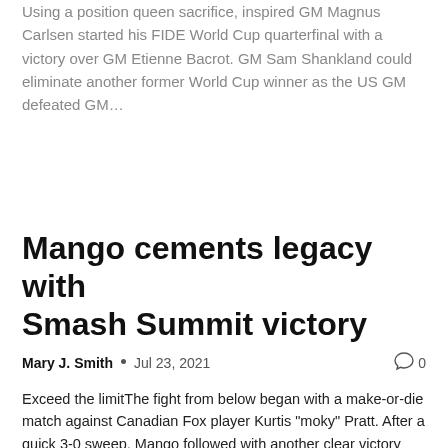Using a position queen sacrifice, inspired GM Magnus Carlsen started his FIDE World Cup quarterfinal with a victory over GM Etienne Bacrot. GM Sam Shankland could eliminate another former World Cup winner as the US GM defeated GM...
Mango cements legacy with Smash Summit victory
Mary J. Smith · Jul 23, 2021    0
Exceed the limitThe fight from below began with a make-or-die match against Canadian Fox player Kurtis "moky" Pratt. After a quick 3-0 sweep, Mango followed with another clear victory over